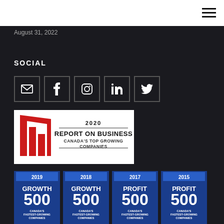August 31, 2022
SOCIAL
[Figure (other): Social media icon buttons: email, Facebook, Instagram, LinkedIn, Twitter]
[Figure (logo): 2020 Report on Business Canada's Top Growing Companies badge]
[Figure (other): Four award badges: 2019 Growth 500, 2018 Growth 500, 2017 Profit 500, 2015 Profit 500 - Canada's Fastest Growing Companies]